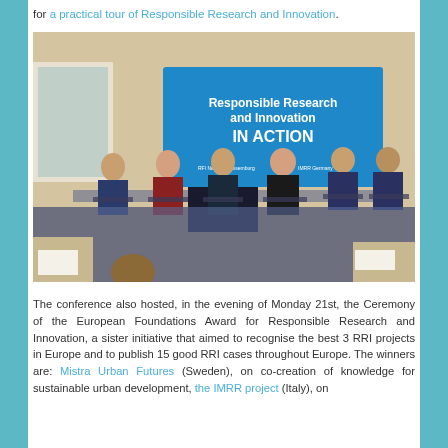for a practical tour of Responsible Research and Innovation.
[Figure (photo): Panel discussion at a conference on Responsible Research and Innovation IN ACTION. Six panelists sit in chairs on a stage in front of a large blue banner reading 'Responsible Research and Innovation IN ACTION'.]
The conference also hosted, in the evening of Monday 21st, the Ceremony of the European Foundations Award for Responsible Research and Innovation, a sister initiative that aimed to recognise the best 3 RRI projects in Europe and to publish 15 good RRI cases throughout Europe. The winners are: Mistra Urban Futures (Sweden), on co-creation of knowledge for sustainable urban development, the IMRR project (Italy), on